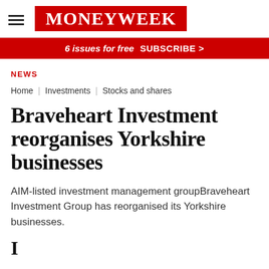MoneyWeek
6 issues for free  SUBSCRIBE >
NEWS
Home | Investments | Stocks and shares
Braveheart Investment reorganises Yorkshire businesses
AIM-listed investment management groupBraveheart Investment Group has reorganised its Yorkshire businesses.